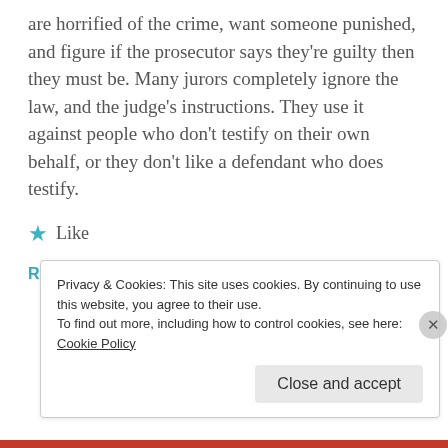are horrified of the crime, want someone punished, and figure if the prosecutor says they're guilty then they must be. Many jurors completely ignore the law, and the judge's instructions. They use it against people who don't testify on their own behalf, or they don't like a defendant who does testify.
★ Like
REPLY
Privacy & Cookies: This site uses cookies. By continuing to use this website, you agree to their use. To find out more, including how to control cookies, see here: Cookie Policy
Close and accept